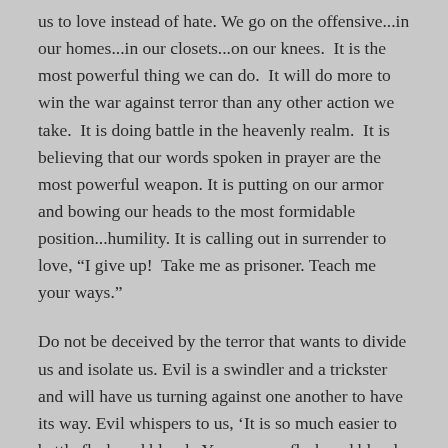us to love instead of hate. We go on the offensive...in our homes...in our closets...on our knees.  It is the most powerful thing we can do.  It will do more to win the war against terror than any other action we take.  It is doing battle in the heavenly realm.  It is believing that our words spoken in prayer are the most powerful weapon. It is putting on our armor and bowing our heads to the most formidable position...humility. It is calling out in surrender to love, “I give up!  Take me as prisoner. Teach me your ways.”
Do not be deceived by the terror that wants to divide us and isolate us. Evil is a swindler and a trickster and will have us turning against one another to have its way. Evil whispers to us, ‘It is so much easier to battle flesh and blood.  You can see flesh and blood. You can